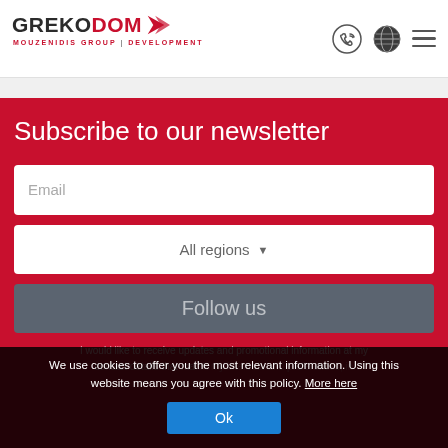[Figure (logo): GREKODOM logo with red arrow/chevron graphic and tagline MOUZENIDIS GROUP | DEVELOPMENT]
Subscribe to our newsletter
Email (input field placeholder)
All regions (dropdown)
Follow us
I would like to receive updates and promotional information at my contact details that match my interests and preferences, in
We use cookies to offer you the most relevant information. Using this website means you agree with this policy. More here
Ok